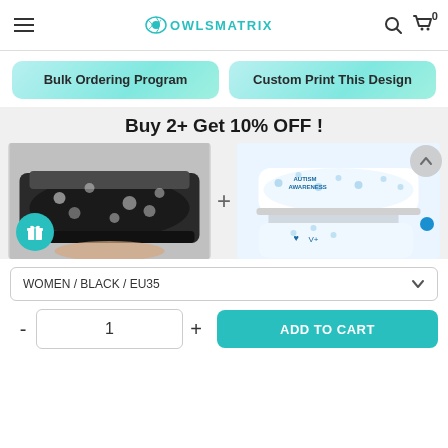OwlsMatrix - navigation header with menu, logo, search and cart
Bulk Ordering Program
Custom Print This Design
Buy 2+ Get 10% OFF !
[Figure (photo): Two product images of custom sneakers side by side with a + sign between them. Left shoe has black background with puzzle piece pattern. Right shoe has white/blue autism awareness design.]
WOMEN / BLACK / EU35
1
ADD TO CART